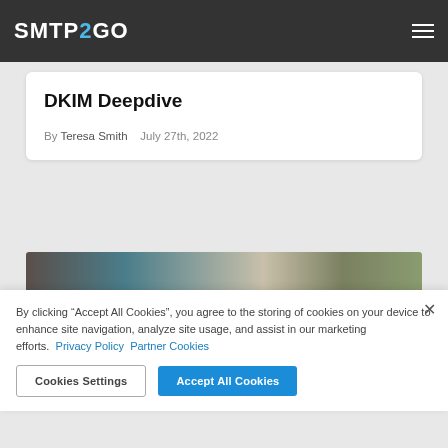SMTP2GO
DKIM Deepdive
By Teresa Smith   July 27th, 2022
[Figure (photo): A photo strip showing a laptop with documents and a coffee cup on a desk]
By clicking “Accept All Cookies”, you agree to the storing of cookies on your device to enhance site navigation, analyze site usage, and assist in our marketing efforts.  Privacy Policy  Partner Cookies
Cookies Settings   Accept All Cookies